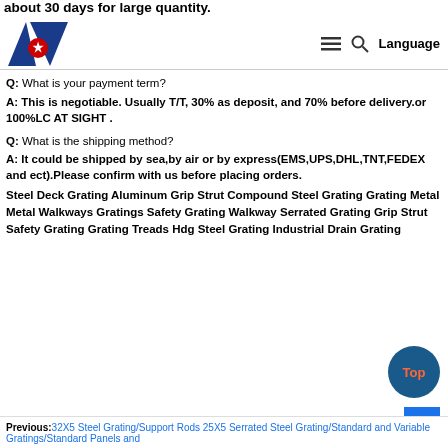about 30 days for large quantity.
≡  🔍  Language
Q: What is your payment term?
A: This is negotiable. Usually T/T, 30% as deposit, and 70% before delivery.or 100%LC AT SIGHT .
Q: What is the shipping method?
A: It could be shipped by sea,by air or by express(EMS,UPS,DHL,TNT,FEDEX and ect).Please confirm with us before placing orders.
Steel Deck Grating Aluminum Grip Strut Compound Steel Grating Grating Metal Metal Walkways Gratings Safety Grating Walkway Serrated Grating Grip Strut Safety Grating Grating Treads Hdg Steel Grating Industrial Drain Grating
Previous:32X5 Steel Grating/Support Rods 25X5 Serrated Steel Grating/Standard and Variable Gratings/Standard Panels and